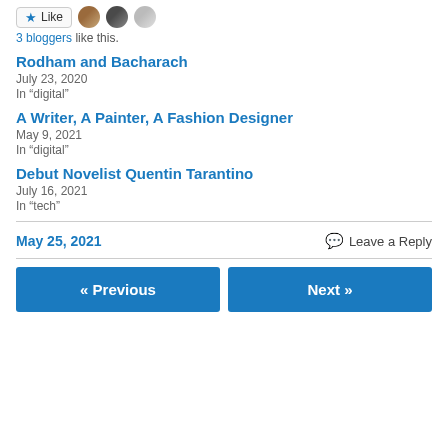[Figure (other): Like button with star icon and three avatar photos of bloggers]
3 bloggers like this.
Rodham and Bacharach
July 23, 2020
In "digital"
A Writer, A Painter, A Fashion Designer
May 9, 2021
In "digital"
Debut Novelist Quentin Tarantino
July 16, 2021
In "tech"
May 25, 2021
Leave a Reply
« Previous
Next »